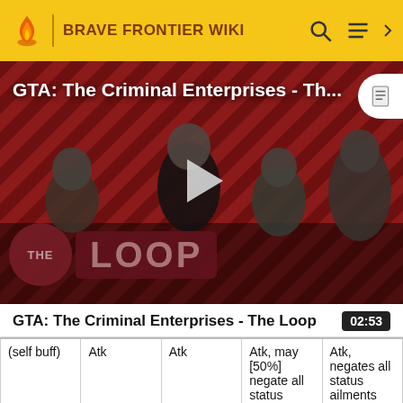BRAVE FRONTIER WIKI
[Figure (screenshot): GTA: The Criminal Enterprises - The Loop video thumbnail with characters on striped red/dark background and THE LOOP logo overlay]
GTA: The Criminal Enterprises - The Loop
02:53
| (self buff) | Atk | Atk | Atk, may [50%] negate all status | Atk, negates all status ailments |